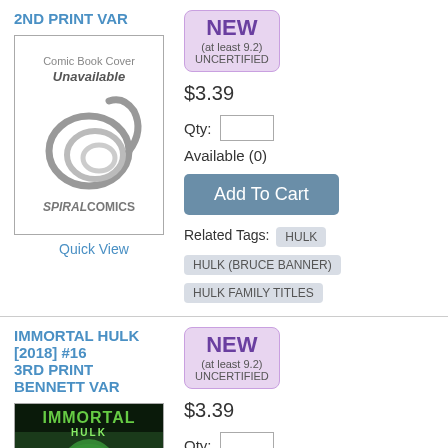2ND PRINT VAR
[Figure (illustration): Comic book cover unavailable placeholder with Spiral Comics logo]
Quick View
NEW (at least 9.2) UNCERTIFIED
$3.39
Qty:
Available (0)
Add To Cart
Related Tags: HULK  HULK (BRUCE BANNER)  HULK FAMILY TITLES
IMMORTAL HULK [2018] #16 3RD PRINT BENNETT VAR
[Figure (illustration): Immortal Hulk comic book cover art]
NEW (at least 9.2) UNCERTIFIED
$3.39
Qty:
Available (0)